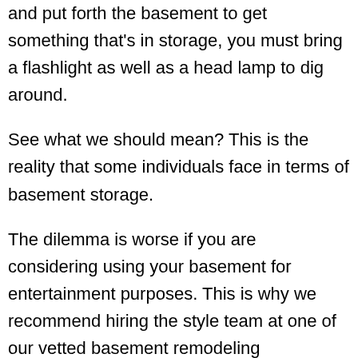and put forth the basement to get something that's in storage, you must bring a flashlight as well as a head lamp to dig around.
See what we should mean? This is the reality that some individuals face in terms of basement storage.
The dilemma is worse if you are considering using your basement for entertainment purposes. This is why we recommend hiring the style team at one of our vetted basement remodeling contractors that will help you figure out which lighting options work best for the intended use of your basement.